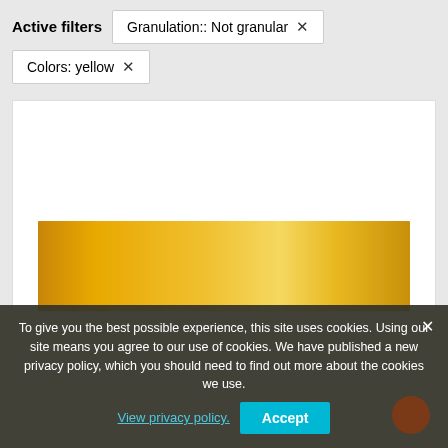Active filters
Granulation:: Not granular ×
Colors: yellow ×
[Figure (photo): A yellow/golden watercolor paint swatch showing a gradient from dark amber on the left to light golden yellow in the center and back to darker amber on the right, displayed in a white product card.]
To give you the best possible experience, this site uses cookies. Using our site means you agree to our use of cookies. We have published a new privacy policy, which you should need to find out more about the cookies we use. View privacy policy. Accept